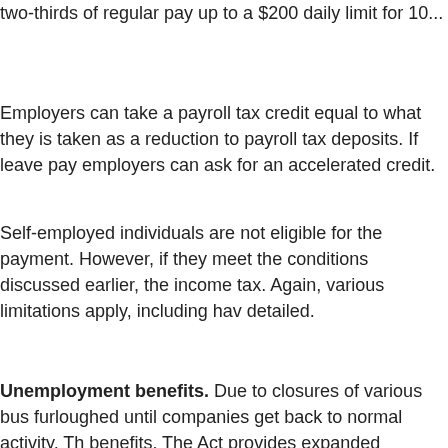two-thirds of regular pay up to a $200 daily limit for 10...
Employers can take a payroll tax credit equal to what they... is taken as a reduction to payroll tax deposits. If leave pay... employers can ask for an accelerated credit.
Self-employed individuals are not eligible for the payment... However, if they meet the conditions discussed earlier, the... income tax. Again, various limitations apply, including hav... detailed.
Unemployment benefits. Due to closures of various bus... furloughed until companies get back to normal activity. Th... benefits. The Act provides expanded assistance to states... Unemployment benefits are fully taxable. State law determ...
Health savings accounts. Having coverage through high... for contributing to a health savings account (HSA). Typica... deductible before insurance coverage kicks in. However, a... Coronavirus (COVID-19), the IRS has ruled that HDHPs c... without causing the coverage to be disqualified (Notice 20...